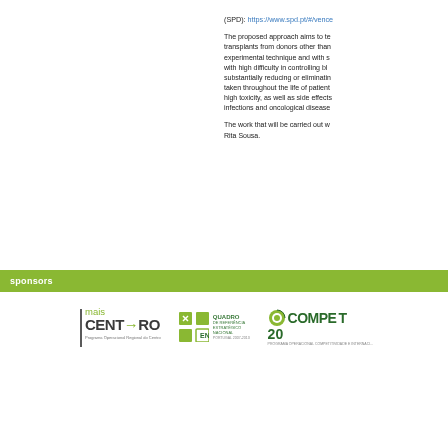(SPD): https://www.spd.pt/#/vence
The proposed approach aims to te transplants from donors other than experimental technique and with s with high difficulty in controlling blo substantially reducing or eliminatin taken throughout the life of patient high toxicity, as well as side effects infections and oncological disease
The work that will be carried out w Rita Sousa.
sponsors
[Figure (logo): mais CENTRO - Programa Operacional Regional do Centro logo]
[Figure (logo): QREN - Quadro de Referência Estratégico Nacional logo]
[Figure (logo): COMPETE 20 - Programa Operacional Competitividade e Internacionalização logo]